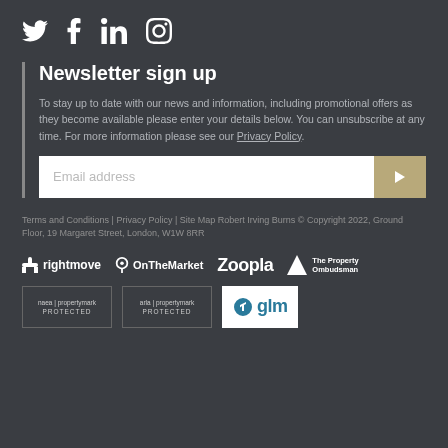[Figure (infographic): Social media icons: Twitter (bird), Facebook (f), LinkedIn (in), Instagram (camera outline)]
Newsletter sign up
To stay up to date with our news and information, including promotional offers as they become available please enter your details below. You can unsubscribe at any time. For more information please see our Privacy Policy.
[Figure (other): Email address input field with a gold submit button containing a right arrow]
Terms and Conditions | Privacy Policy | Site Map Robert Irving Burns © Copyright 2022, Ground Floor, 19 Margaret Street, London, W1W 8RR
[Figure (logo): Partner logos: rightmove, OnTheMarket, Zoopla, The Property Ombudsman, naea propertymark protected, arla propertymark protected, glm]
[Figure (logo): Compliance logos: naea propertymark protected, arla propertymark protected, glm]